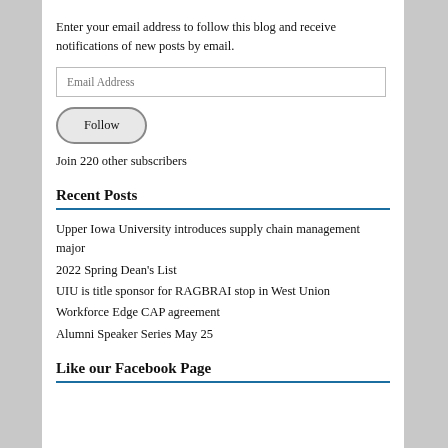Enter your email address to follow this blog and receive notifications of new posts by email.
Email Address
Follow
Join 220 other subscribers
Recent Posts
Upper Iowa University introduces supply chain management major
2022 Spring Dean's List
UIU is title sponsor for RAGBRAI stop in West Union
Workforce Edge CAP agreement
Alumni Speaker Series May 25
Like our Facebook Page